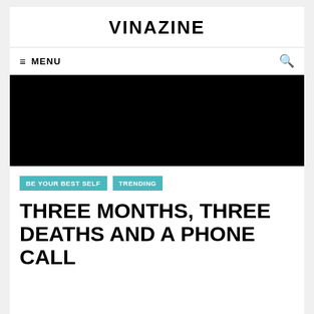VINAZINE
≡ MENU
[Figure (photo): Black hero image placeholder]
BE YOUR BEST SELF   TRENDING
THREE MONTHS, THREE DEATHS AND A PHONE CALL